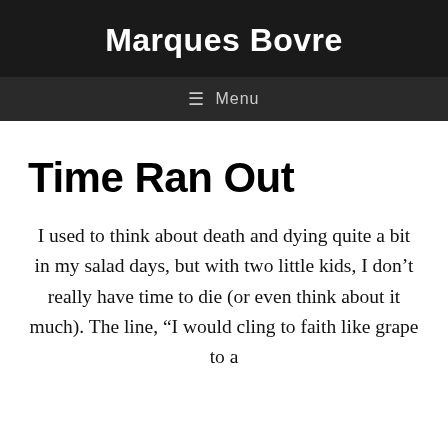Marques Bovre
≡ Menu
Time Ran Out
I used to think about death and dying quite a bit in my salad days, but with two little kids, I don't really have time to die (or even think about it much). The line, “I would cling to faith like grape to a